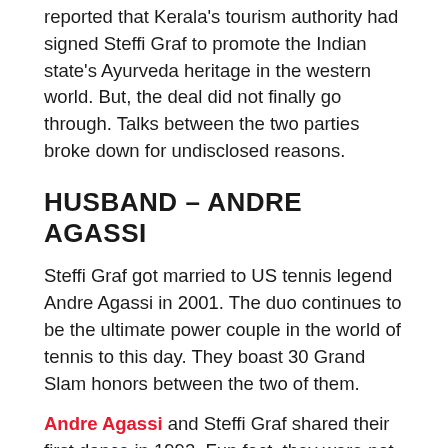reported that Kerala's tourism authority had signed Steffi Graf to promote the Indian state's Ayurveda heritage in the western world. But, the deal did not finally go through. Talks between the two parties broke down for undisclosed reasons.
HUSBAND – ANDRE AGASSI
Steffi Graf got married to US tennis legend Andre Agassi in 2001. The duo continues to be the ultimate power couple in the world of tennis to this day. They boast 30 Grand Slam honors between the two of them.
Andre Agassi and Steffi Graf shared their first dance in 1992. Fun fact, they were not dating back then! It happened at the Wimbledon Ball, where it is customary for the men's and women's champions to dance together.
In Agassi's book, he found Graf attractive long before their